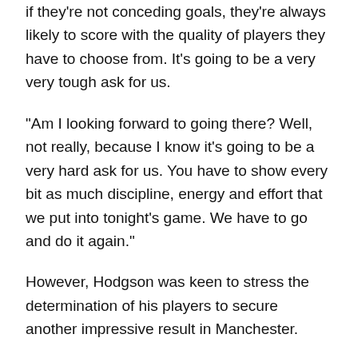if they're not conceding goals, they're always likely to score with the quality of players they have to choose from. It's going to be a very very tough ask for us.
“Am I looking forward to going there? Well, not really, because I know it’s going to be a very hard ask for us. You have to show every bit as much discipline, energy and effort that we put into tonight’s game. We have to go and do it again.”
However, Hodgson was keen to stress the determination of his players to secure another impressive result in Manchester.
“One should be looking forward to it because it’s a fantastic stadium and we’re playing against a fantastic team, and the reason we’re in the Premier League really is